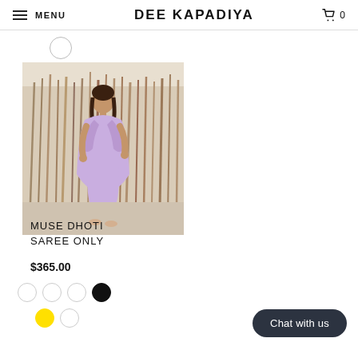MENU | DEE KAPADIYA | 🛒 0
[Figure (photo): A woman wearing a lavender/purple Muse Dhoti Saree, standing in front of dried tall grass or reeds backdrop in a studio setting.]
MUSE DHOTI SAREE ONLY
$365.00
Color swatches: white (x3), black, yellow, white
Chat with us